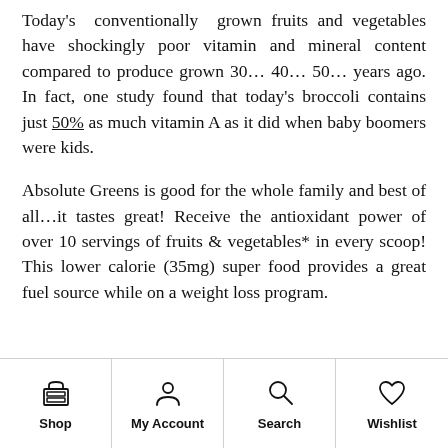Today's conventionally grown fruits and vegetables have shockingly poor vitamin and mineral content compared to produce grown 30… 40… 50… years ago. In fact, one study found that today's broccoli contains just 50% as much vitamin A as it did when baby boomers were kids.
Absolute Greens is good for the whole family and best of all…it tastes great! Receive the antioxidant power of over 10 servings of fruits & vegetables* in every scoop! This lower calorie (35mg) super food provides a great fuel source while on a weight loss program.
[Figure (screenshot): Mobile app navigation bar with four icons: Shop (storefront icon), My Account (person icon), Search (magnifying glass icon), Wishlist (heart icon)]